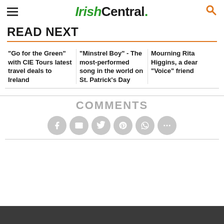IrishCentral.
READ NEXT
"Go for the Green" with CIE Tours latest travel deals to Ireland
"Minstrel Boy" - The most-performed song in the world on St. Patrick's Day
Mourning Rita Higgins, a dear “Voice” friend
COMMENTS